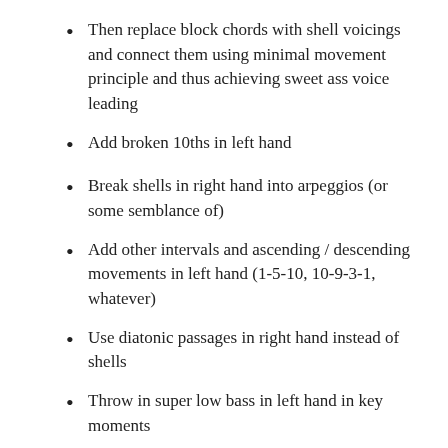Then replace block chords with shell voicings and connect them using minimal movement principle and thus achieving sweet ass voice leading
Add broken 10ths in left hand
Break shells in right hand into arpeggios (or some semblance of)
Add other intervals and ascending / descending movements in left hand (1-5-10, 10-9-3-1, whatever)
Use diatonic passages in right hand instead of shells
Throw in super low bass in left hand in key moments